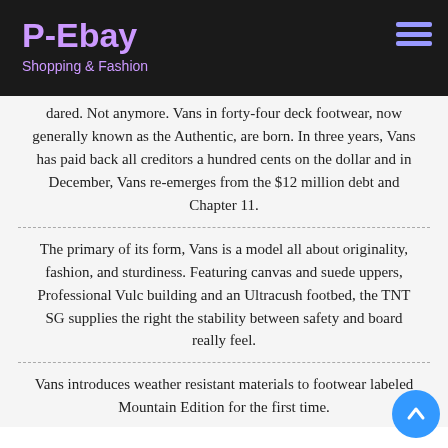P-Ebay
Shopping & Fashion
dared. Not anymore. Vans in forty-four deck footwear, now generally known as the Authentic, are born. In three years, Vans has paid back all creditors a hundred cents on the dollar and in December, Vans re-emerges from the $12 million debt and Chapter 11.
The primary of its form, Vans is a model all about originality, fashion, and sturdiness. Featuring canvas and suede uppers, Professional Vulc building and an Ultracush footbed, the TNT SG supplies the right the stability between safety and board really feel.
Vans introduces weather resistant materials to footwear labeled Mountain Edition for the first time.